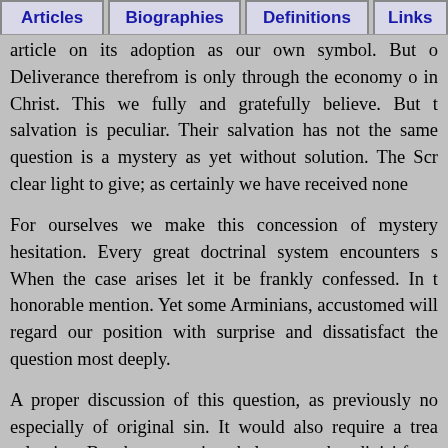Articles | Biographies | Definitions | Links
article on its adoption as our own symbol. But o Deliverance therefrom is only through the economy o in Christ. This we fully and gratefully believe. But t salvation is peculiar. Their salvation has not the same question is a mystery as yet without solution. The Scr clear light to give; as certainly we have received none
For ourselves we make this concession of mystery hesitation. Every great doctrinal system encounters s When the case arises let it be frankly confessed. In t honorable mention. Yet some Arminians, accustomed will regard our position with surprise and dissatisfact the question most deeply.
A proper discussion of this question, as previously no especially of original sin. It would also require a trea salvation. But these questions belong to other divisi from the discussion in hand.